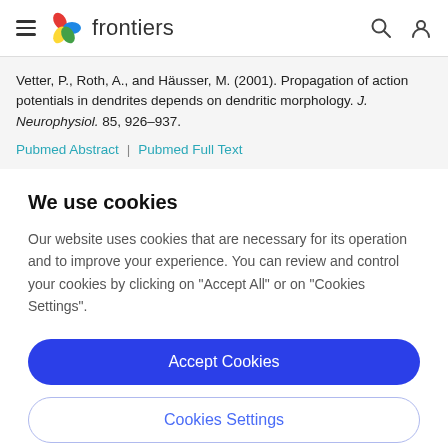frontiers
Vetter, P., Roth, A., and Häusser, M. (2001). Propagation of action potentials in dendrites depends on dendritic morphology. J. Neurophysiol. 85, 926–937.
Pubmed Abstract | Pubmed Full Text
We use cookies
Our website uses cookies that are necessary for its operation and to improve your experience. You can review and control your cookies by clicking on "Accept All" or on "Cookies Settings".
Accept Cookies
Cookies Settings